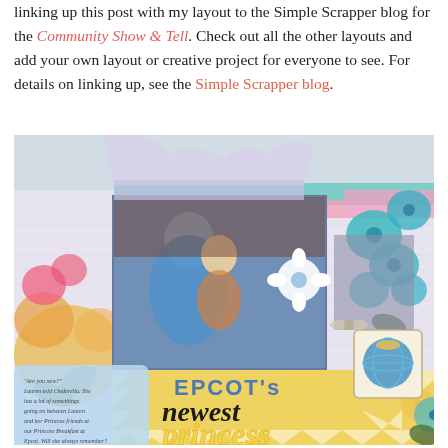linking up this post with my layout to the Simple Scrapper blog for the Community Show & Tell. Check out all the other layouts and add your own layout or creative project for everyone to see. For details on linking up, see the Simple Scrapper blog.
[Figure (photo): A colorful scrapbook layout featuring a photo of Cinderella hugging a young girl, with floral decorations, chevron patterns, and text reading 'EPCOT's newest princess']